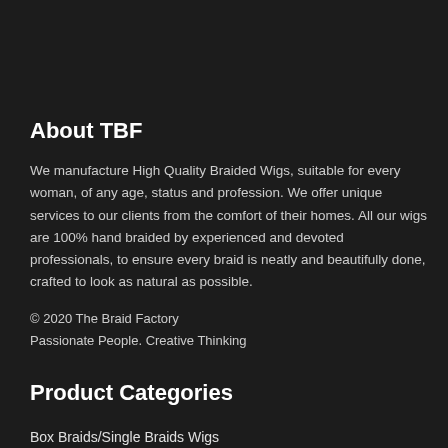About TBF
We manufacture High Quality Braided Wigs, suitable for every woman, of any age, status and profession. We offer unique services to our clients from the comfort of their homes. All our wigs are 100% hand braided by experienced and devoted professionals, to ensure every braid is neatly and beautifully done, crafted to look as natural as possible.
© 2020 The Braid Factory
Passionate People. Creative Thinking
Product Categories
Box Braids/Single Braids Wigs
Braided Headband Wigs
Braided Wig Caps